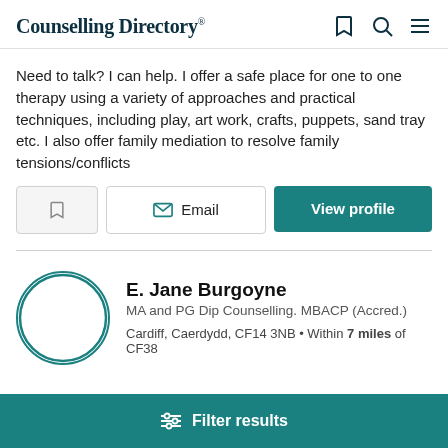Counselling Directory
Need to talk? I can help. I offer a safe place for one to one therapy using a variety of approaches and practical techniques, including play, art work, crafts, puppets, sand tray etc. I also offer family mediation to resolve family tensions/conflicts
Email | View profile
E. Jane Burgoyne
MA and PG Dip Counselling. MBACP (Accred.)
Cardiff, Caerdydd, CF14 3NB • Within 7 miles of CF38
Filter results